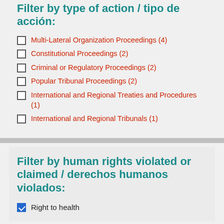Filter by type of action / tipo de acción:
Multi-Lateral Organization Proceedings (4)
Constitutional Proceedings (2)
Criminal or Regulatory Proceedings (2)
Popular Tribunal Proceedings (2)
International and Regional Treaties and Procedures (1)
International and Regional Tribunals (1)
Filter by human rights violated or claimed / derechos humanos violados:
Right to health